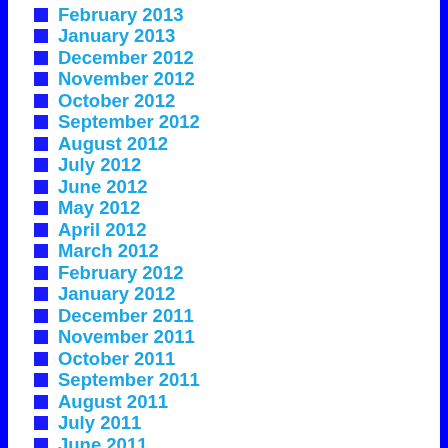February 2013
January 2013
December 2012
November 2012
October 2012
September 2012
August 2012
July 2012
June 2012
May 2012
April 2012
March 2012
February 2012
January 2012
December 2011
November 2011
October 2011
September 2011
August 2011
July 2011
June 2011
May 2011